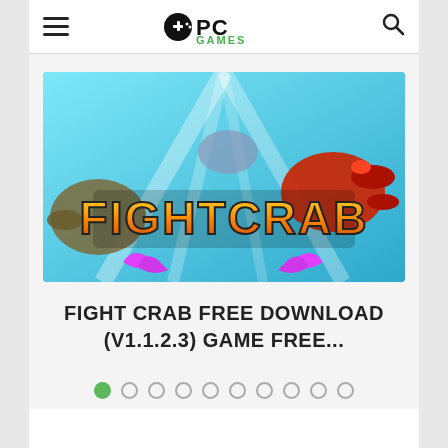PC Games (logo with hamburger menu and search icon)
[Figure (screenshot): FightCrab video game promotional artwork showing crabs fighting underwater, with the title FIGHTCRAB in large stylized orange/yellow letters and pink crab claws below]
FIGHT CRAB FREE DOWNLOAD (V1.1.2.3) GAME FREE...
Slider navigation dots: 10 dots, first one active (green)